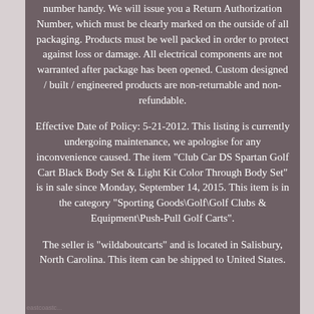number handy. We will issue you a Return Authorization Number, which must be clearly marked on the outside of all packaging. Products must be well packed in order to protect against loss or damage. All electrical components are not warranted after package has been opened. Custom designed / built / engineered products are non-returnable and non-refundable.
Effective Date of Policy: 5-21-2012. This listing is currently undergoing maintenance, we apologise for any inconvenience caused. The item "Club Car DS Spartan Golf Cart Black Body Set & Light Kit Color Through Body Set" is in sale since Monday, September 14, 2015. This item is in the category "Sporting Goods\Golf\Golf Clubs & Equipment\Push-Pull Golf Carts".
The seller is "wildaboutcarts" and is located in Salisbury, North Carolina. This item can be shipped to United States.